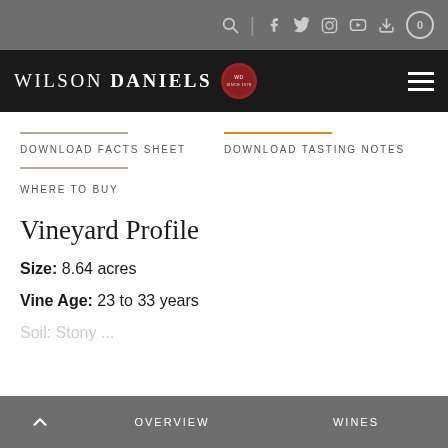Wilson Daniels – navigation header with search, social icons, cart
[Figure (logo): Wilson Daniels logo with wax seal, Since 1978, on black background]
DOWNLOAD FACTS SHEET
DOWNLOAD TASTING NOTES
WHERE TO BUY
Vineyard Profile
Size: 8.64 acres
Vine Age: 23 to 33 years
OVERVIEW   WINES